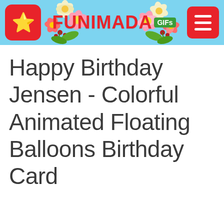[Figure (logo): Funimada GIFs website header with logo, brand name, floral decoration and hamburger menu button on light blue background]
Happy Birthday Jensen - Colorful Animated Floating Balloons Birthday Card